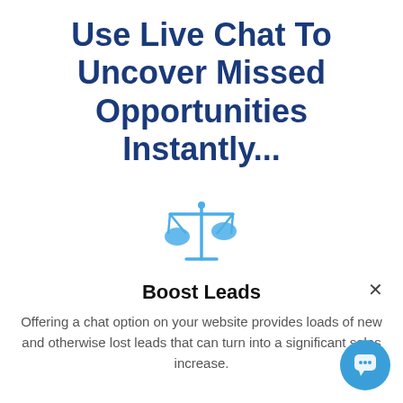Use Live Chat To Uncover Missed Opportunities Instantly...
[Figure (illustration): Blue line-art scales of justice / balance icon]
Boost Leads
Offering a chat option on your website provides loads of new and otherwise lost leads that can turn into a significant sales increase.
[Figure (illustration): Blue circular chat bubble button icon in bottom-right corner]